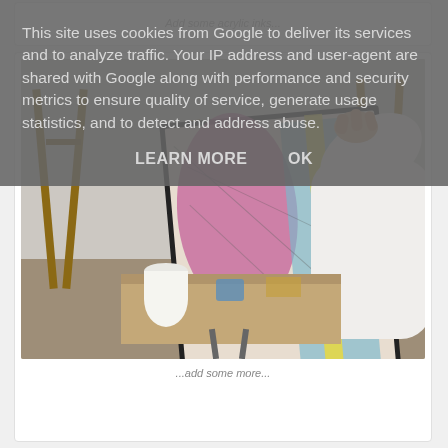This site uses cookies from Google to deliver its services and to analyze traffic. Your IP address and user-agent are shared with Google along with performance and security metrics to ensure quality of service, generate usage statistics, and to detect and address abuse.
LEARN MORE    OK
Add some acrylic inks...
[Figure (photo): Person in white shirt holding a painted canvas on an easel in an art studio, showing abstract painting with pink, blue, and yellow colors]
...add some more...